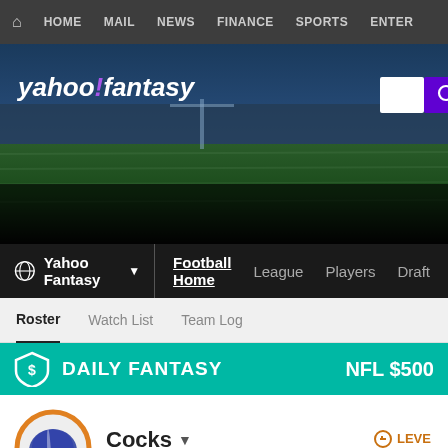HOME  MAIL  NEWS  FINANCE  SPORTS  ENTER...
[Figure (screenshot): Yahoo Fantasy Football website header with stadium background image, Yahoo Fantasy logo, search box, and Sign in button]
Yahoo Fantasy ▾  Football Home  League  Players  Draft
Roster  Watch List  Team Log
[Figure (infographic): Daily Fantasy banner in teal with shield icon, DAILY FANTASY text, and NFL $500 promo text on right]
Cocks ▾  --hidden--  Since '14  LEVEL  Rating: 5...